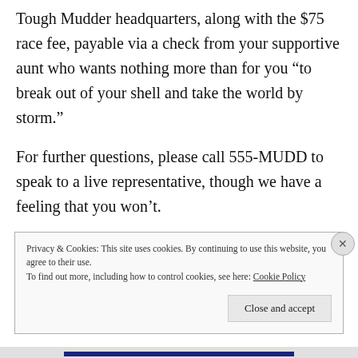Tough Mudder headquarters, along with the $75 race fee, payable via a check from your supportive aunt who wants nothing more than for you “to break out of your shell and take the world by storm.”
For further questions, please call 555-MUDD to speak to a live representative, though we have a feeling that you won’t.
Privacy & Cookies: This site uses cookies. By continuing to use this website, you agree to their use.
To find out more, including how to control cookies, see here: Cookie Policy